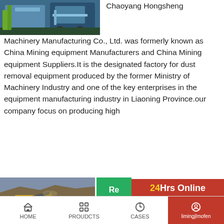[Figure (photo): Industrial machinery/mining equipment photo, top-left corner]
Chaoyang Hongsheng Machinery Manufacturing Co., Ltd. was formerly known as China Mining equipment Manufacturers and China Mining equipment Suppliers.It is the designated factory for dust removal equipment produced by the former Ministry of Machinery Industry and one of the key enterprises in the equipment manufacturing industry in Liaoning Province.our company focus on producing high
[Figure (photo): Customer service representative with headset - 24Hrs Online sidebar widget]
24Hrs Online
Need qu... & suggestion?
Chat Now
Enquiry
limingjImofen
[Figure (photo): Mining machinery/crusher equipment in quarry or open pit mine]
Re
Fangda Mini... Machinery - C... Hammer Cru...
...
2021-2-05...........Industrial Scratch...
HOME   PROUDCTS   CASES   limingjImofen